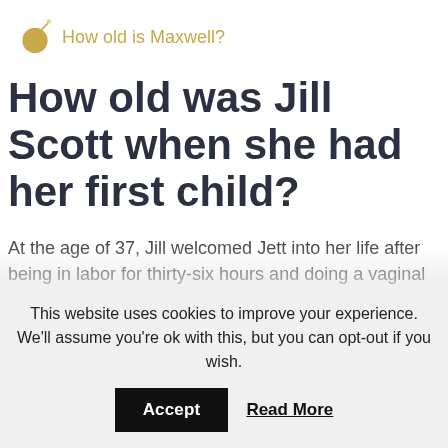How old is Maxwell?
How old was Jill Scott when she had her first child?
At the age of 37, Jill welcomed Jett into her life after being in labor for thirty-six hours and doing a vaginal birth. While she had interesting thoughts on what motherhood and being pregnant would look like, she had a rude awakening to the reality of being a single mother.
This website uses cookies to improve your experience. We'll assume you're ok with this, but you can opt-out if you wish.